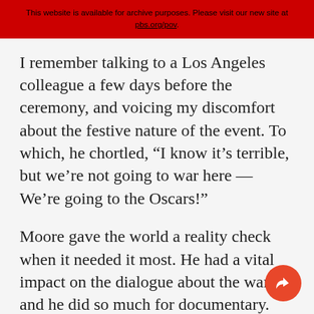This website is available for archive purposes. Please visit our new site at pbs.org/pov.
I remember talking to a Los Angeles colleague a few days before the ceremony, and voicing my discomfort about the festive nature of the event. To which, he chortled, “I know it’s terrible, but we’re not going to war here — We’re going to the Oscars!”
Moore gave the world a reality check when it needed it most. He had a vital impact on the dialogue about the war, and he did so much for documentary. (And, lest we forget, Bowling for Columbine was an early call for gun control;